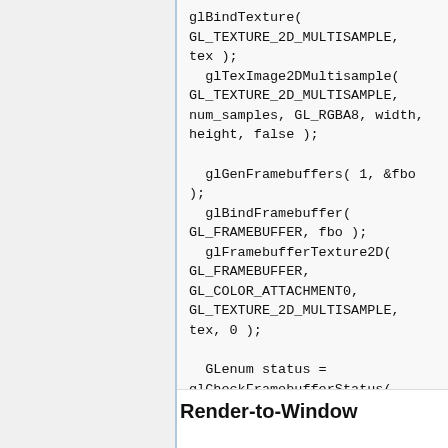glBindTexture(
GL_TEXTURE_2D_MULTISAMPLE,
tex );
  glTexImage2DMultisample(
GL_TEXTURE_2D_MULTISAMPLE,
num_samples, GL_RGBA8, width,
height, false );

  glGenFramebuffers( 1, &fbo
);
  glBindFramebuffer(
GL_FRAMEBUFFER, fbo );
  glFramebufferTexture2D(
GL_FRAMEBUFFER,
GL_COLOR_ATTACHMENT0,
GL_TEXTURE_2D_MULTISAMPLE,
tex, 0 );

  GLenum status =
glCheckFramebufferStatus(
target );
  ...
Render-to-Window